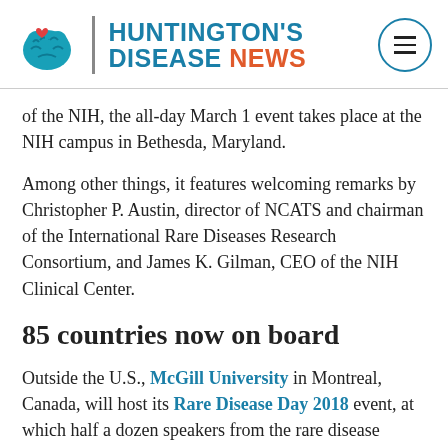HUNTINGTON'S DISEASE NEWS
of the NIH, the all-day March 1 event takes place at the NIH campus in Bethesda, Maryland.
Among other things, it features welcoming remarks by Christopher P. Austin, director of NCATS and chairman of the International Rare Diseases Research Consortium, and James K. Gilman, CEO of the NIH Clinical Center.
85 countries now on board
Outside the U.S., McGill University in Montreal, Canada, will host its Rare Disease Day 2018 event, at which half a dozen speakers from the rare disease community will give talks on research, treatment, and political advocacy. The five-hour